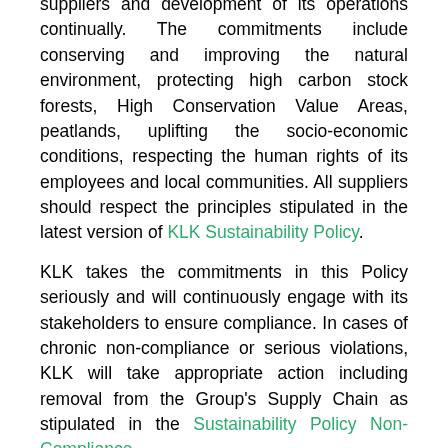suppliers and development of its operations continually. The commitments include conserving and improving the natural environment, protecting high carbon stock forests, High Conservation Value Areas, peatlands, uplifting the socio-economic conditions, respecting the human rights of its employees and local communities. All suppliers should respect the principles stipulated in the latest version of KLK Sustainability Policy. KLK takes the commitments in this Policy seriously and will continuously engage with its stakeholders to ensure compliance. In cases of chronic non-compliance or serious violations, KLK will take appropriate action including removal from the Group's Supply Chain as stipulated in the Sustainability Policy Non-Compliance